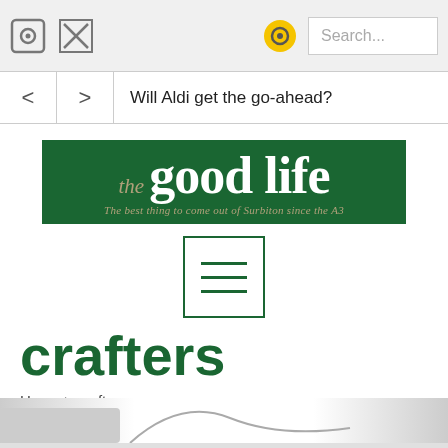[Figure (screenshot): Browser top bar with camera icon, X icon, yellow circle icon, and Search... input box]
[Figure (screenshot): Browser navigation bar with back arrow, forward arrow, and URL text: Will Aldi get the go-ahead?]
[Figure (logo): The Good Life logo - green banner with serif text. Tagline: The best thing to come out of Surbiton since the A3]
[Figure (other): Hamburger menu icon inside a square border]
crafters
Home > crafters